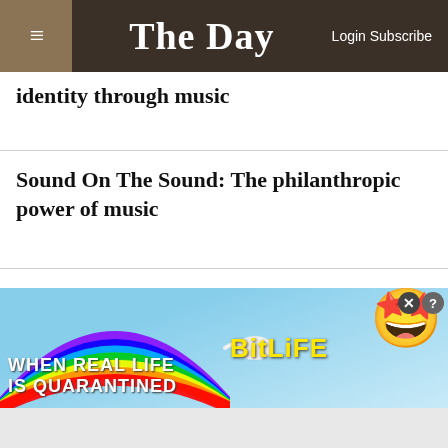The Day   Login Subscribe
identity through music
Sound On The Sound: The philanthropic power of music
Sound On The Sound: Musicians test the waters in the New London restaurant scene
[Figure (advertisement): BitLife mobile app advertisement with rainbow and cartoon emoji face, text: WHEN REAL LIFE IS QUARANTINED - BitLife]